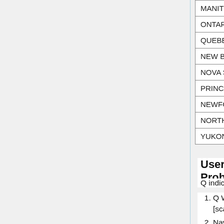| Province/Territory | Code |
| --- | --- |
| MANITOBA | M |
| ONTARIO | O |
| QUEBEC | Q |
| NEW BRUNSWICK | N |
| NOVA SCOTIA | N |
| PRINCE EDWARD ISLAND | P |
| NEWFOUNDLAND | N |
| NORTHWEST TERRITORIES | N |
| YUKON | Y |
User Problems
Q indicates a question from a real user.
Q Why is there no way to validate [scan] the QR code I was given?
Navigating to Apple Store from Google on a PC hangs.
At a minimum your mobile phone